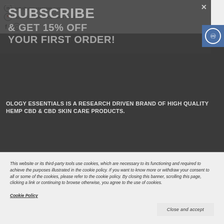[Figure (screenshot): Website screenshot showing a CBD/hemp product page with dark background, subscription popup overlay, cookie consent banner, and contact info header]
hello@ologyessentials.com
305 W 11th Street, Columbia, TN 38401
SUBSCRIBE
& GET 15% OFF
YOUR FIRST ORDER!
OLOGY ESSENTIALS IS A RESEARCH DRIVEN BRAND OF HIGH QUALITY HEMP CBD & CBD SKIN CARE PRODUCTS.
This website or its third-party tools use cookies, which are necessary to its functioning and required to achieve the purposes illustrated in the cookie policy. If you want to know more or withdraw your consent to all or some of the cookies, please refer to the cookie policy. By closing this banner, scrolling this page, clicking a link or continuing to browse otherwise, you agree to the use of cookies.
Cookie Policy
Close and accept